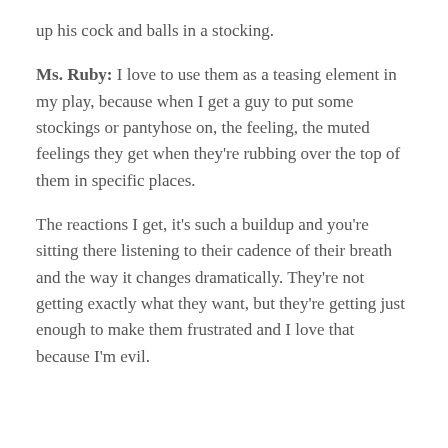up his cock and balls in a stocking.
Ms. Ruby: I love to use them as a teasing element in my play, because when I get a guy to put some stockings or pantyhose on, the feeling, the muted feelings they get when they're rubbing over the top of them in specific places.
The reactions I get, it's such a buildup and you're sitting there listening to their cadence of their breath and the way it changes dramatically. They're not getting exactly what they want, but they're getting just enough to make them frustrated and I love that because I'm evil.